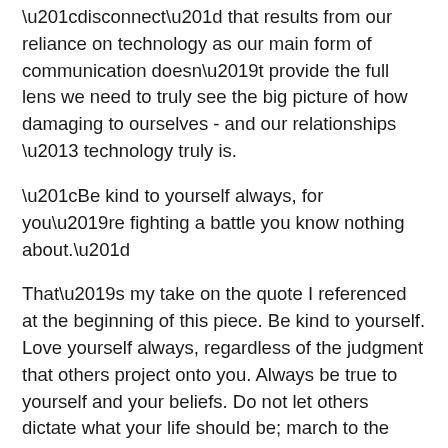“disconnect” that results from our reliance on technology as our main form of communication doesn’t provide the full lens we need to truly see the big picture of how damaging to ourselves - and our relationships – technology truly is.
“Be kind to yourself always, for you’re fighting a battle you know nothing about.”
That’s my take on the quote I referenced at the beginning of this piece. Be kind to yourself. Love yourself always, regardless of the judgment that others project onto you. Always be true to yourself and your beliefs. Do not let others dictate what your life should be; march to the beat of your own drum and the tune that makes you happy. After all, it is your life - and they haven’t had to live it.
Don’t be afraid to break out from the pack; bring your own unique character and assets to the table. Sure, some folks might not appreciate all those things about you, but that doesn’t matter - because the RIGHT person will. You don’t need the approval of the entire world. Besides, you wouldn’t have enough of yourself to nourish all those relationships